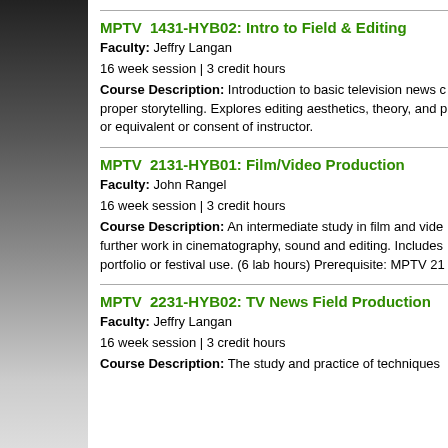MPTV  1431-HYB02: Intro to Field & Editing
Faculty: Jeffry Langan
16 week session | 3 credit hours
Course Description: Introduction to basic television news c... proper storytelling. Explores editing aesthetics, theory, and p... or equivalent or consent of instructor.
MPTV  2131-HYB01: Film/Video Production
Faculty: John Rangel
16 week session | 3 credit hours
Course Description: An intermediate study in film and vide... further work in cinematography, sound and editing. Includes... portfolio or festival use. (6 lab hours) Prerequisite: MPTV 21...
MPTV  2231-HYB02: TV News Field Production
Faculty: Jeffry Langan
16 week session | 3 credit hours
Course Description: The study and practice of techniques...